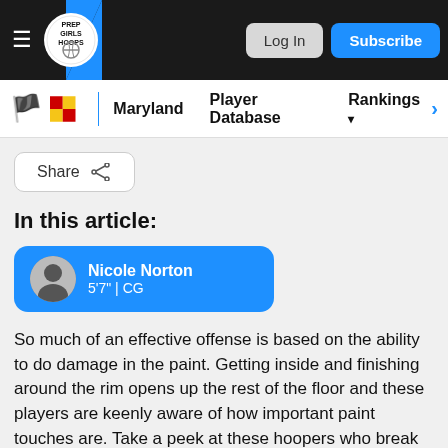Prep Girls Hoops — Log In | Subscribe
Maryland   Player Database   Rankings >
Share
In this article:
Nicole Norton
5'7" | CG
So much of an effective offense is based on the ability to do damage in the paint. Getting inside and finishing around the rim opens up the rest of the floor and these players are keenly aware of how important paint touches are. Take a peek at these hoopers who break